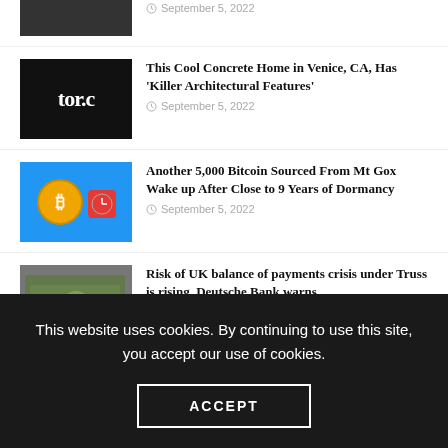[Figure (photo): Partial thumbnail image at top, cropped]
September 5, 2022
[Figure (photo): Black background with white 'tor.c' text logo]
This Cool Concrete Home in Venice, CA, Has ‘Killer Architectural Features’
September 5, 2022
[Figure (photo): Bitcoin coin and alarm clock on blue background]
Another 5,000 Bitcoin Sourced From Mt Gox Wake up After Close to 9 Years of Dormancy
September 5, 2022
[Figure (photo): Person standing in front of US dollar bills]
Risk of UK balance of payments crisis under Truss is rising, Deutsche Bank warns
September 5, 2022
This website uses cookies. By continuing to use this site, you accept our use of cookies.
ACCEPT